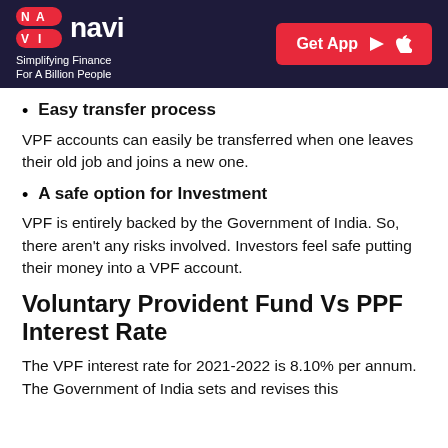navi — Simplifying Finance For A Billion People
Easy transfer process
VPF accounts can easily be transferred when one leaves their old job and joins a new one.
A safe option for Investment
VPF is entirely backed by the Government of India. So, there aren't any risks involved. Investors feel safe putting their money into a VPF account.
Voluntary Provident Fund Vs PPF Interest Rate
The VPF interest rate for 2021-2022 is 8.10% per annum. The Government of India sets and revises this